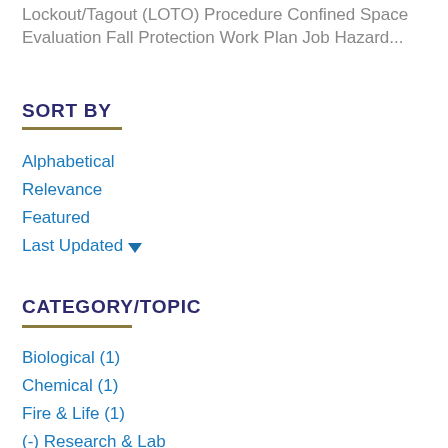Lockout/Tagout (LOTO) Procedure Confined Space Evaluation Fall Protection Work Plan Job Hazard...
SORT BY
Alphabetical
Relevance
Featured
Last Updated
CATEGORY/TOPIC
Biological (1)
Chemical (1)
Fire & Life (1)
(-) Research & Lab